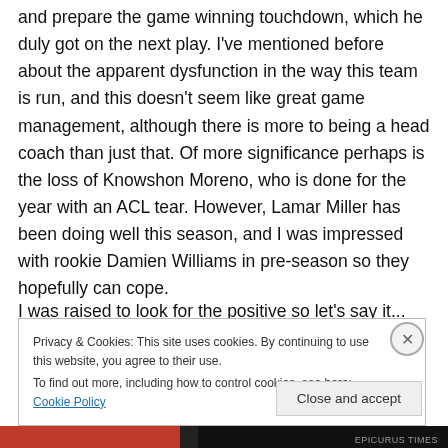and prepare the game winning touchdown, which he duly got on the next play. I've mentioned before about the apparent dysfunction in the way this team is run, and this doesn't seem like great game management, although there is more to being a head coach than just that. Of more significance perhaps is the loss of Knowshon Moreno, who is done for the year with an ACL tear. However, Lamar Miller has been doing well this season, and I was impressed with rookie Damien Williams in pre-season so they hopefully can cope.
I was raised to look for the positive so let's say it...
Privacy & Cookies: This site uses cookies. By continuing to use this website, you agree to their use.
To find out more, including how to control cookies, see here: Cookie Policy